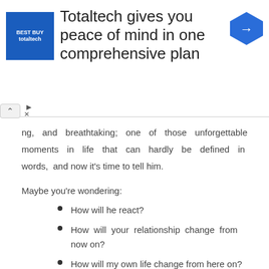[Figure (other): Totaltech advertisement banner with blue logo square showing 'totaltech' text, heading 'Totaltech gives you peace of mind in one comprehensive plan', and a blue diamond arrow icon on the right. Includes collapse button and ad/close indicators.]
ng, and breathtaking; one of those unforgettable moments in life that can hardly be defined in words, and now it’s time to tell him.
Maybe you’re wondering:
How will he react?
How will your relationship change from now on?
How will my own life change from here on?
How do I prepare to be a new mother?